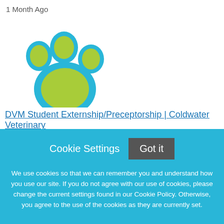1 Month Ago
[Figure (illustration): Blue and yellow-green paw print logo for Coldwater Veterinary]
DVM Student Externship/Preceptorship | Coldwater Veterinary
Cookie Settings
Got it
We use cookies so that we can remember you and understand how you use our site. If you do not agree with our use of cookies, please change the current settings found in our Cookie Policy. Otherwise, you agree to the use of the cookies as they are currently set.